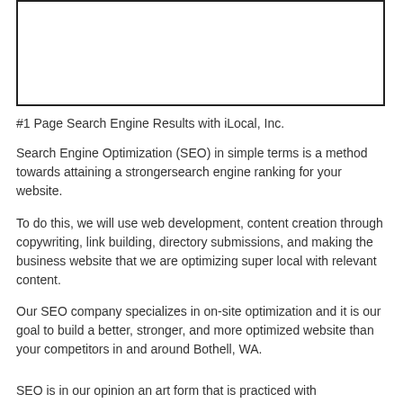[Figure (other): White rectangular image box with a thick border]
#1 Page Search Engine Results with iLocal, Inc.
Search Engine Optimization (SEO) in simple terms is a method towards attaining a strongersearch engine ranking for your website.
To do this, we will use web development, content creation through copywriting, link building, directory submissions, and making the business website that we are optimizing super local with relevant content.
Our SEO company specializes in on-site optimization and it is our goal to build a better, stronger, and more optimized website than your competitors in and around Bothell, WA.
SEO is in our opinion an art form that is practiced with